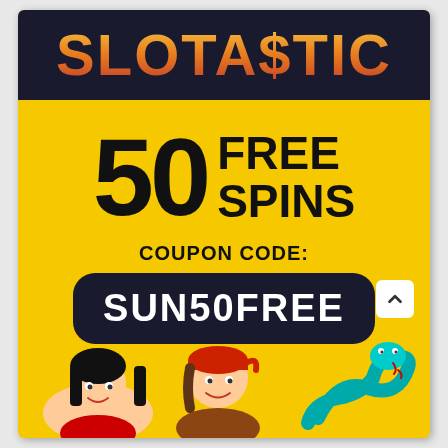SLOTA$TIC
50 FREE SPINS
COUPON CODE:
SUN50FREE
[Figure (illustration): Cartoon characters - a woman with black hair and a pirate girl with red bandana, plus a snake, at the bottom of the promotional image]